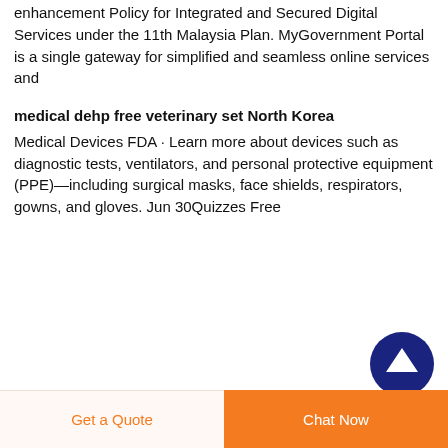enhancement Policy for Integrated and Secured Digital Services under the 11th Malaysia Plan. MyGovernment Portal is a single gateway for simplified and seamless online services and
medical dehp free veterinary set North Korea
Medical Devices FDA · Learn more about devices such as diagnostic tests, ventilators, and personal protective equipment (PPE)—including surgical masks, face shields, respirators, gowns, and gloves. Jun 30Quizzes Free
[Figure (other): Circular dark navy blue button with a white upward arrow icon, used as a scroll-to-top button]
Get a Quote
Chat Now